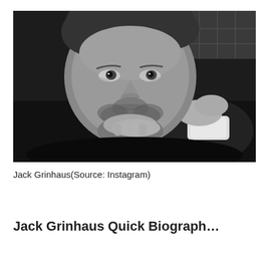[Figure (photo): Black and white portrait photo of Jack Grinhaus, a man resting his chin on his hand, wearing a dark shirt with white cuff visible, looking directly at camera]
Jack Grinhaus(Source: Instagram)
Jack Grinhaus Quick Biograph...